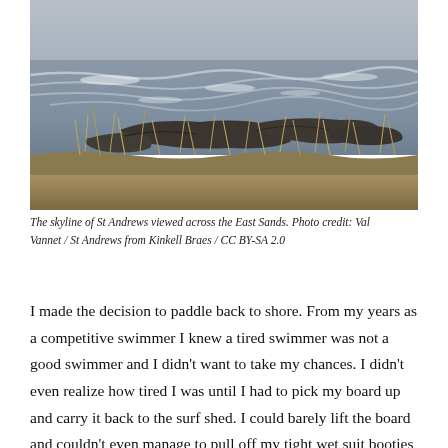[Figure (photo): Coastal landscape photograph showing rocky shoreline at St Andrews East Sands. Choppy grey sea water in background with white-capped waves, dark rocky outcrops in the middle ground, and dry grassy/reedy vegetation in the foreground. Overcast sky.]
The skyline of St Andrews viewed across the East Sands. Photo credit: Val Vannet / St Andrews from Kinkell Braes / CC BY-SA 2.0
I made the decision to paddle back to shore. From my years as a competitive swimmer I knew a tired swimmer was not a good swimmer and I didn't want to take my chances. I didn't even realize how tired I was until I had to pick my board up and carry it back to the surf shed. I could barely lift the board and couldn't even manage to pull off my tight wet suit booties when I tried to change back into dry clothes. It wasn't